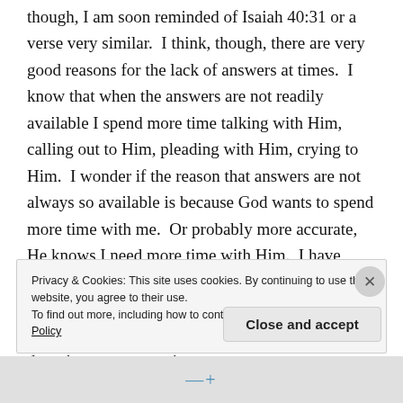though, I am soon reminded of Isaiah 40:31 or a verse very similar.  I think, though, there are very good reasons for the lack of answers at times.  I know that when the answers are not readily available I spend more time talking with Him, calling out to Him, pleading with Him, crying to Him.  I wonder if the reason that answers are not always so available is because God wants to spend more time with me.  Or probably more accurate, He knows I need more time with Him.  I have often been told that life is not about the destination but the journey.  I believe that our walk with God is the same.  If you can't or don't hear Him, He doesn't want you to give
Privacy & Cookies: This site uses cookies. By continuing to use this website, you agree to their use.
To find out more, including how to control cookies, see here: Cookie Policy
Close and accept